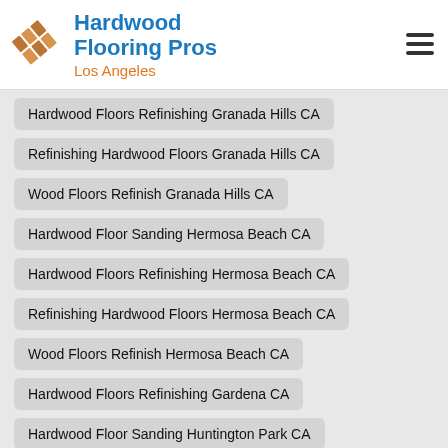Hardwood Flooring Pros Los Angeles
Hardwood Floors Refinishing Granada Hills CA
Refinishing Hardwood Floors Granada Hills CA
Wood Floors Refinish Granada Hills CA
Hardwood Floor Sanding Hermosa Beach CA
Hardwood Floors Refinishing Hermosa Beach CA
Refinishing Hardwood Floors Hermosa Beach CA
Wood Floors Refinish Hermosa Beach CA
Hardwood Floors Refinishing Gardena CA
Hardwood Floor Sanding Huntington Park CA
Refinishing Hardwood Floors Huntington Park CA